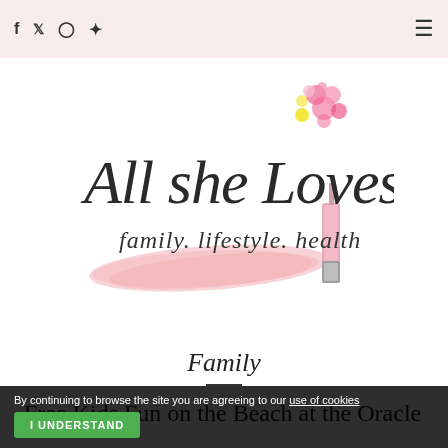f  t  instagram  pinterest  [menu]
[Figure (logo): All she Loves logo — cursive script text 'All she Loves' with subtitle 'family. lifestyle. health', pink watercolor brush stroke, pink lip gloss tube, and floral decorations (pink and yellow flowers)]
Family
Free Kids Fun on the Beach at the Oracle
By continuing to browse the site you are agreeing to our use of cookies